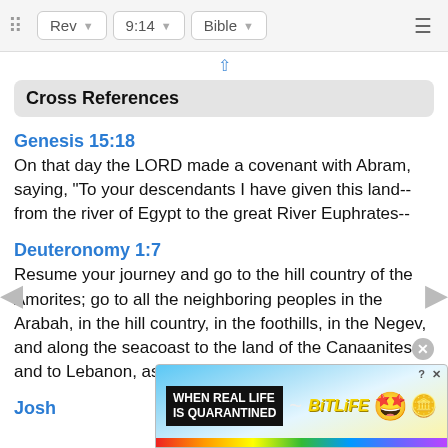Rev  9:14  Bible
Cross References
Genesis 15:18
On that day the LORD made a covenant with Abram, saying, "To your descendants I have given this land--from the river of Egypt to the great River Euphrates--
Deuteronomy 1:7
Resume your journey and go to the hill country of the Amorites; go to all the neighboring peoples in the Arabah, in the hill country, in the foothills, in the Negev, and along the seacoast to the land of the Canaanites and to Lebanon, as far as the great River Euphrates.
Josh
[Figure (screenshot): Advertisement banner: 'WHEN REAL LIFE IS QUARANTINED' with BitLife game logo and emoji characters]